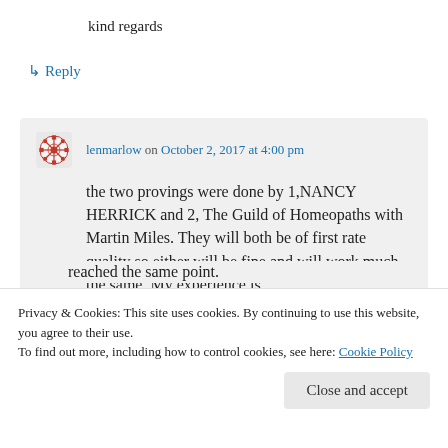kind regards
↳ Reply
lenmarlow on October 2, 2017 at 4:00 pm
the two provings were done by 1,NANCY HERRICK and 2, The Guild of Homeopaths with Martin Miles. They will both be of first rate quality so either will be fine and will work much the same. My experience is
reached the same point.
Privacy & Cookies: This site uses cookies. By continuing to use this website, you agree to their use.
To find out more, including how to control cookies, see here: Cookie Policy
Close and accept